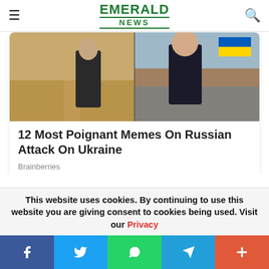EMERALD NEWS
[Figure (photo): Two men in a movie scene: left man in suit on desert road, right man in suit with serious expression; Ukrainian flag in top right corner]
12 Most Poignant Memes On Russian Attack On Ukraine
Brainberries
This website uses cookies. By continuing to use this website you are giving consent to cookies being used. Visit our Privacy
f  Twitter  WhatsApp  Telegram  +